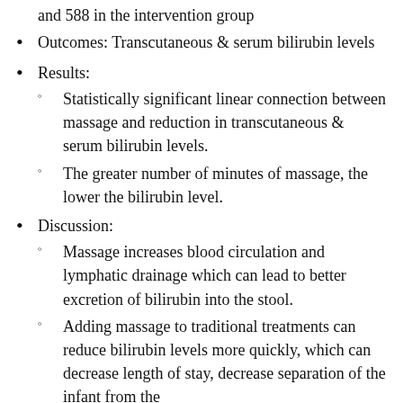and 588 in the intervention group
Outcomes: Transcutaneous & serum bilirubin levels
Results:
Statistically significant linear connection between massage and reduction in transcutaneous & serum bilirubin levels.
The greater number of minutes of massage, the lower the bilirubin level.
Discussion:
Massage increases blood circulation and lymphatic drainage which can lead to better excretion of bilirubin into the stool.
Adding massage to traditional treatments can reduce bilirubin levels more quickly, which can decrease length of stay, decrease separation of the infant from the